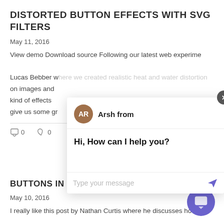DISTORTED BUTTON EFFECTS WITH SVG FILTERS
May 11, 2016
View demo Download source Following our latest web experiment by Lucas Bebber where we created realistic heat and water distortion on images and videos, we wanted to explore those same kind of effects on other UI elements to give us some gr…
[Figure (screenshot): Chat widget overlay showing avatar 'AR' for 'Arsh from', message 'Hi, How can I help you?', text input area 'Type your message', send button, and close button (X). A purple chat launcher button is in the bottom right.]
BUTTONS IN DESIGN SYSTEMS
May 10, 2016
I really like this post by Nathan Curtis where he discusses how